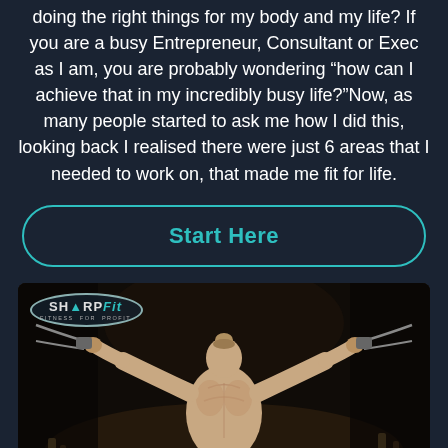doing the right things for my body and my life? If you are a busy Entrepreneur, Consultant or Exec as I am, you are probably wondering “how can I achieve that in my incredibly busy life?”Now, as many people started to ask me how I did this, looking back I realised there were just 6 areas that I needed to work on, that made me fit for life.
Start Here
[Figure (photo): A shirtless muscular man seen from behind, pulling cables/straps outward with both arms raised, in a dark gym setting. The SharpFit logo (SHARP Fit, Fitness for Profit) appears in the top-left corner of the image.]